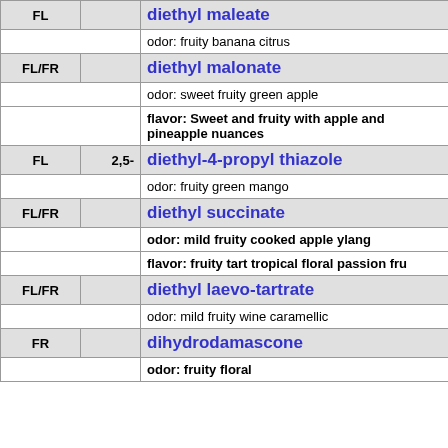| Type | Number | Name/Description |
| --- | --- | --- |
| FL |  | diethyl maleate |
|  |  | odor: fruity banana citrus |
| FL/FR |  | diethyl malonate |
|  |  | odor: sweet fruity green apple |
|  |  | flavor: Sweet and fruity with apple and pineapple nuances |
| FL | 2,5- | diethyl-4-propyl thiazole |
|  |  | odor: fruity green mango |
| FL/FR |  | diethyl succinate |
|  |  | odor: mild fruity cooked apple ylang |
|  |  | flavor: fruity tart tropical floral passion fru |
| FL/FR |  | diethyl laevo-tartrate |
|  |  | odor: mild fruity wine caramellic |
| FR |  | dihydrodamascone |
|  |  | odor: fruity floral |